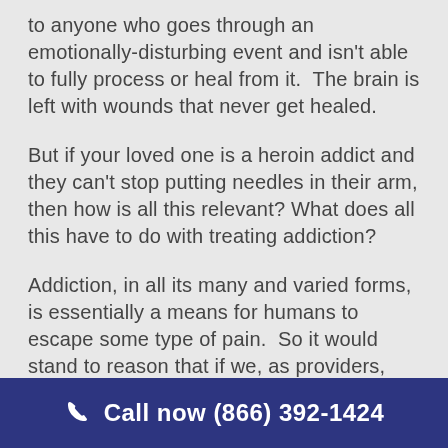to anyone who goes through an emotionally-disturbing event and isn't able to fully process or heal from it.  The brain is left with wounds that never get healed.
But if your loved one is a heroin addict and they can't stop putting needles in their arm, then how is all this relevant? What does all this have to do with treating addiction?
Addiction, in all its many and varied forms, is essentially a means for humans to escape some type of pain.  So it would stand to reason that if we, as providers, can alleviate the underlying psychic or emotional pain of
Call now (866) 392-1424